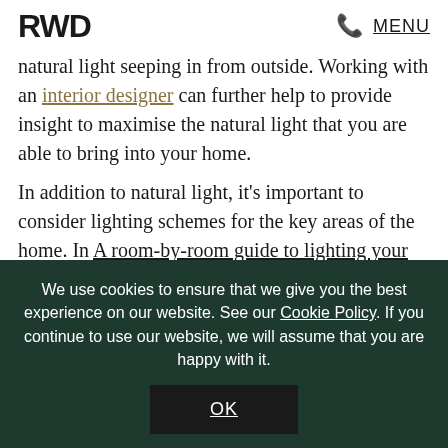RWD | MENU
natural light seeping in from outside. Working with an interior designer can further help to provide insight to maximise the natural light that you are able to bring into your home.
In addition to natural light, it's important to consider lighting schemes for the key areas of the home. In A room-by-room guide to lighting your home we look at how lighting not only plays a vital role in providing functional illumination, but in setting the tone and
We use cookies to ensure that we give you the best experience on our website. See our Cookie Policy. If you continue to use our website, we will assume that you are happy with it.
OK